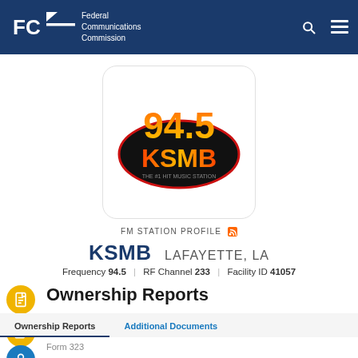Federal Communications Commission
[Figure (logo): 94.5 KSMB radio station logo - black oval with orange/red/yellow 94.5 text and KSMB in gradient, tagline 'The #1 Hit Music Station']
FM STATION PROFILE
KSMB   LAFAYETTE, LA
Frequency 94.5 | RF Channel 233 | Facility ID 41057
Ownership Reports
Ownership Reports   Additional Documents
Form 323